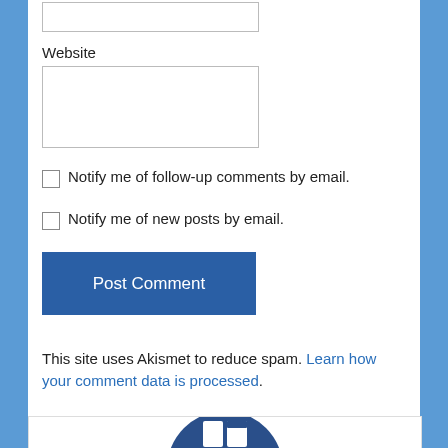Website
Notify me of follow-up comments by email.
Notify me of new posts by email.
Post Comment
This site uses Akismet to reduce spam. Learn how your comment data is processed.
[Figure (logo): Logo with dark blue circle containing a stylized white letter/icon, partially visible at bottom of page]